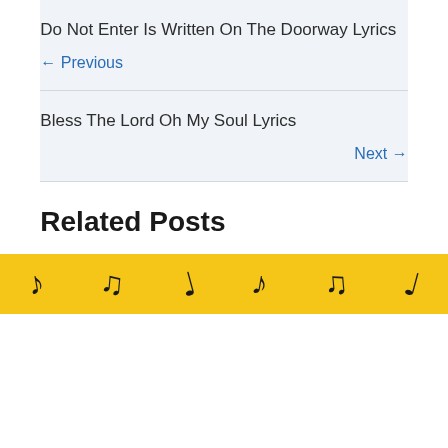Do Not Enter Is Written On The Doorway Lyrics
← Previous
Bless The Lord Oh My Soul Lyrics
Next →
Related Posts
[Figure (illustration): Yellow banner with music notes]